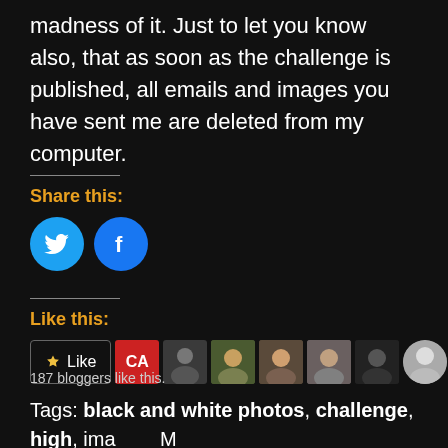madness of it. Just to let you know also, that as soon as the challenge is published, all emails and images you have sent me are deleted from my computer.
Share this:
[Figure (illustration): Twitter and Facebook social share icon buttons (round, blue circles with bird and f logos)]
Like this:
[Figure (illustration): Like button followed by a row of blogger avatar thumbnails including a red CA icon and multiple profile photos]
187 bloggers like this.
Tags: black and white photos, challenge, high, ima M 3-22, monochrome, Monochrome Madness, mono e photography, Photography, photos